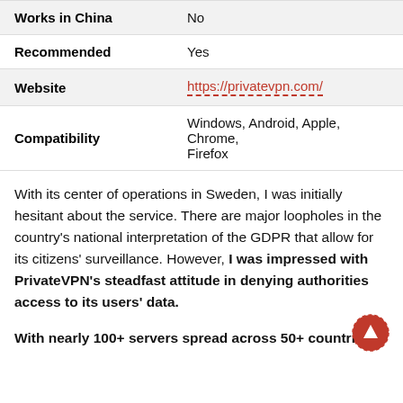| Works in China | No |
| Recommended | Yes |
| Website | https://privatevpn.com/ |
| Compatibility | Windows, Android, Apple, Chrome, Firefox |
With its center of operations in Sweden, I was initially hesitant about the service. There are major loopholes in the country's national interpretation of the GDPR that allow for its citizens' surveillance. However, I was impressed with PrivateVPN's steadfast attitude in denying authorities access to its users' data.
With nearly 100+ servers spread across 50+ countries,